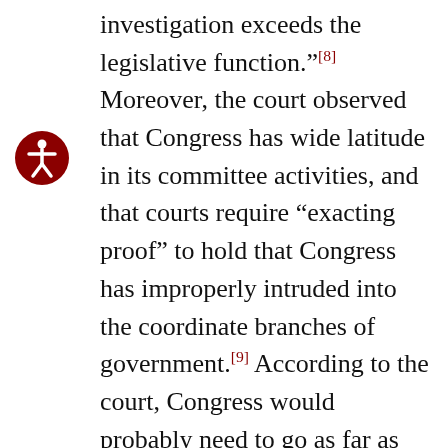investigation exceeds the legislative function."[8] Moreover, the court observed that Congress has wide latitude in its committee activities, and that courts require "exacting proof" to hold that Congress has improperly intruded into the coordinate branches of government.[9] According to the court, Congress would probably need to go as far as indicate that it intended to try the President at bar for criminal wrongdoing by itself, or go on a fishing expedition at the behest of the Department of Justice to secure documents for an investigation, for the Court to conclude that Congress's true motive in issuing the subpoenas was not legislative, but executive or judicial. Since, in the court's reasoning, this case clearly did not constitute